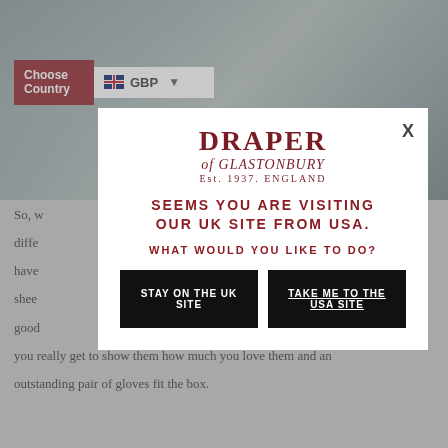[Figure (screenshot): Background page showing a photo of a person in winter clothing at top, with a country selector (Choose Country / GBP dropdown) overlaid on the photo, and partially visible text content below about gloves.]
Choose Country
GBP
So, w... different... will have... shee... the good... when you really get to show them how much you love them and an outstanding pair of gloves fit the box.
DRAPER
of GLASTONBURY
Est. 1937. ENGLAND
SEEMS YOU ARE VISITING OUR UK SITE FROM USA.
WHAT WOULD YOU LIKE TO DO?
STAY ON THE UK SITE
TAKE ME TO THE USA SITE